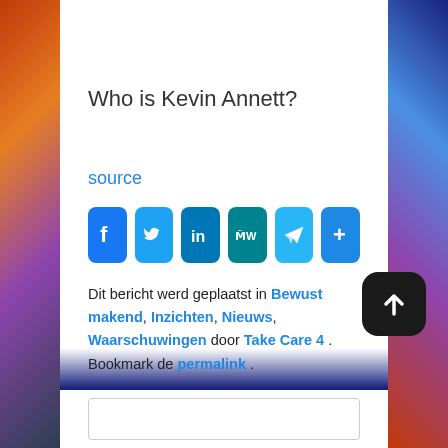Who is Kevin Annett?
source
[Figure (other): Row of social share buttons: Facebook, Twitter, LinkedIn, MeWe, Telegram, More (+)]
Dit bericht werd geplaatst in Bewust makend, Inzichten, Nieuws, Waarschuwingen door Take Care 4 . Bookmark de permalink .